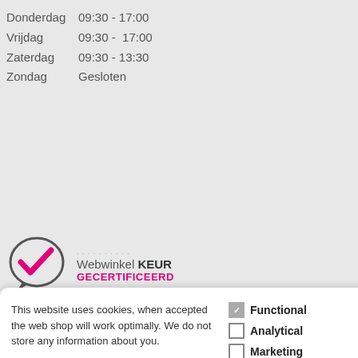Donderdag 09:30 - 17:00
Vrijdag 09:30 - 17:00
Zaterdag 09:30 - 13:30
Zondag Gesloten
[Figure (logo): WebwinkelKEUR GECERTIFICEERD logo with checkmark in speech bubble]
This website uses cookies, when accepted the web shop will work optimally. We do not store any information about you.
Functional (checked)
Analytical (unchecked)
Marketing (unchecked)
Accept selected cookies